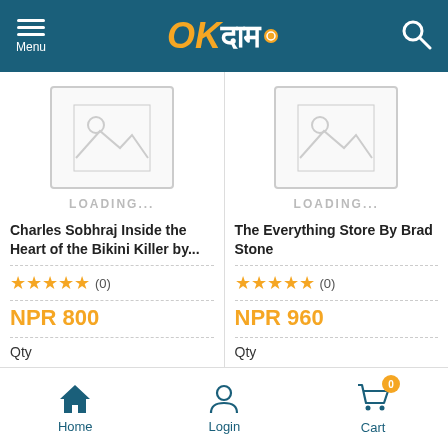OKदाम - Menu, Search
[Figure (screenshot): Image placeholder with mountain icon for first product, showing LOADING...]
Charles Sobhraj Inside the Heart of the Bikini Killer by...
★★★★★ (0)
NPR 800
Qty
[Figure (screenshot): Image placeholder with mountain icon for second product, showing LOADING...]
The Everything Store By Brad Stone
★★★★★ (0)
NPR 960
Qty
Home | Login | Cart (0)